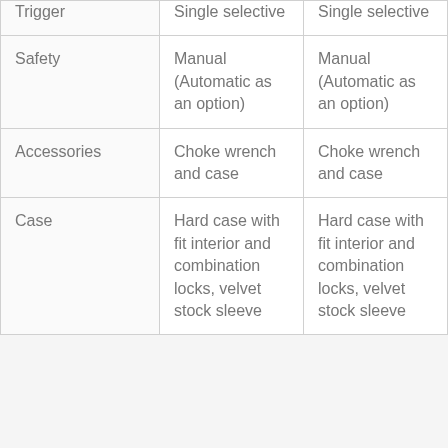| Trigger | Single selective | Single selective |
| Safety | Manual (Automatic as an option) | Manual (Automatic as an option) |
| Accessories | Choke wrench and case | Choke wrench and case |
| Case | Hard case with fit interior and combination locks, velvet stock sleeve | Hard case with fit interior and combination locks, velvet stock sleeve |